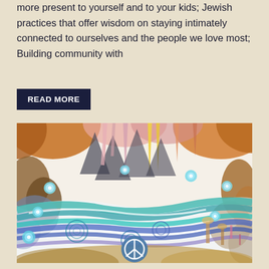more present to yourself and to your kids; Jewish practices that offer wisdom on staying intimately connected to ourselves and the people we love most; Building community with
READ MORE
[Figure (illustration): Colorful watercolor illustration of a fantastical cave or underground landscape with flowing water, stalactites and stalagmites in orange, pink, yellow and brown tones, swirling teal and blue water currents, glowing blue orbs, and a teal circular peace or play symbol at the bottom center.]